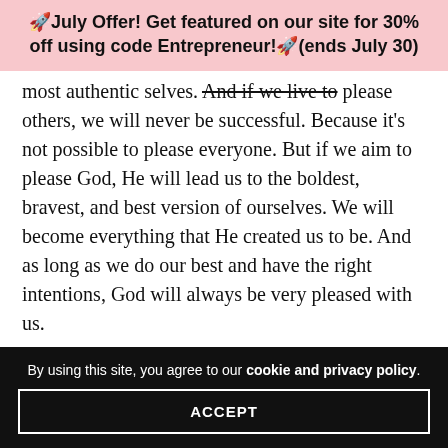🚀July Offer! Get featured on our site for 30% off using code Entrepreneur!🚀(ends July 30)
most authentic selves. And if we live to please others, we will never be successful. Because it's not possible to please everyone. But if we aim to please God, He will lead us to the boldest, bravest, and best version of ourselves. We will become everything that He created us to be. And as long as we do our best and have the right intentions, God will always be very pleased with us.

It doesn't mean that we can't mess up. We have to check ourselves and make sure that indeed what we're doing is for God. But there's always a way to return. There's always a way to go back to God, to turn our hearts to Him, and to take the
By using this site, you agree to our cookie and privacy policy. ACCEPT